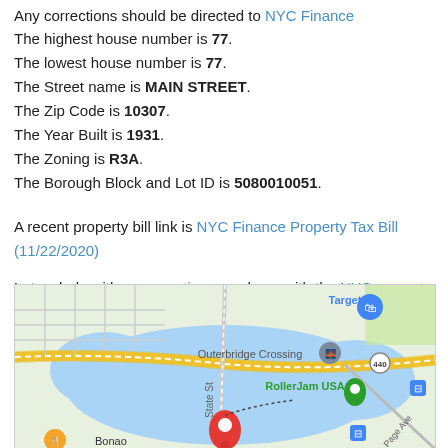Any corrections should be directed to NYC Finance
The highest house number is 77.
The lowest house number is 77.
The Street name is MAIN STREET.
The Zip Code is 10307.
The Year Built is 1931.
The Zoning is R3A.
The Borough Block and Lot ID is 5080010051.
A recent property bill link is NYC Finance Property Tax Bill (11/22/2020)
Let us help with any questions you have with the NYC property tax search page
[Figure (map): Google Maps screenshot showing the area around Outerbridge Crossing, Staten Island NY, with a red pin marker, showing Target, RollerJam USA, State St, Page Ave, and route 440.]